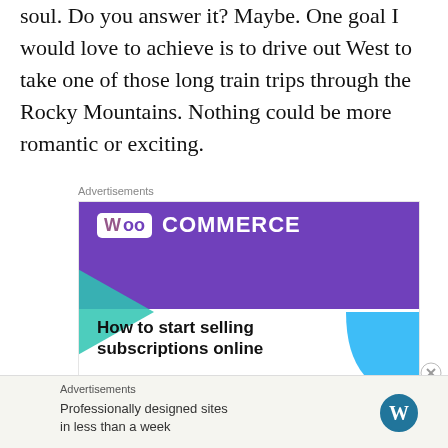soul. Do you answer it? Maybe. One goal I would love to achieve is to drive out West to take one of those long train trips through the Rocky Mountains. Nothing could be more romantic or exciting.
[Figure (screenshot): WooCommerce advertisement banner with purple background, green triangle decoration, blue quarter-circle, WooCommerce logo, and text 'How to start selling subscriptions online' with a purple button below]
[Figure (screenshot): WordPress advertisement bar at the bottom with text 'Professionally designed sites in less than a week' and WordPress logo]